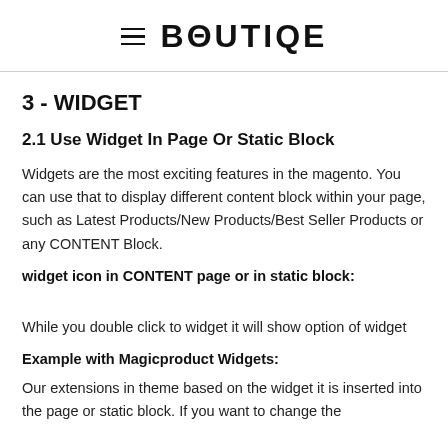≡ BOUTIQE
3 - WIDGET
2.1 Use Widget In Page Or Static Block
Widgets are the most exciting features in the magento. You can use that to display different content block within your page, such as Latest Products/New Products/Best Seller Products or any CONTENT Block.
widget icon in CONTENT page or in static block:
While you double click to widget it will show option of widget
Example with Magicproduct Widgets:
Our extensions in theme based on the widget it is inserted into the page or static block. If you want to change the